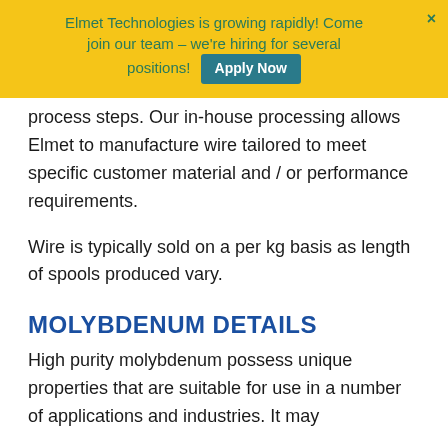Elmet Technologies is growing rapidly! Come join our team – we're hiring for several positions! Apply Now
process steps. Our in-house processing allows Elmet to manufacture wire tailored to meet specific customer material and / or performance requirements.
Wire is typically sold on a per kg basis as length of spools produced vary.
MOLYBDENUM DETAILS
High purity molybdenum possess unique properties that are suitable for use in a number of applications and industries. It may